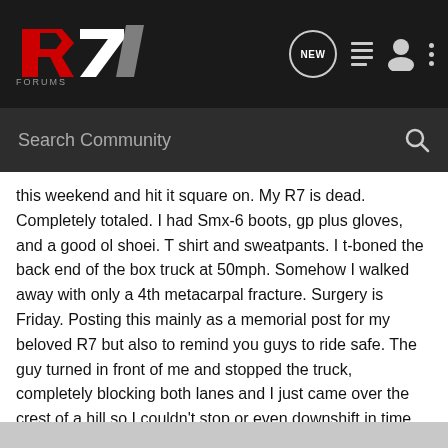R7 Forums navigation bar with logo, NEW button, list icon, user icon, and more icon
Search Community
this weekend and hit it square on. My R7 is dead. Completely totaled. I had Smx-6 boots, gp plus gloves, and a good ol shoei. T shirt and sweatpants. I t-boned the back end of the box truck at 50mph. Somehow I walked away with only a 4th metacarpal fracture. Surgery is Friday. Posting this mainly as a memorial post for my beloved R7 but also to remind you guys to ride safe. The guy turned in front of me and stopped the truck, completely blocking both lanes and I just came over the crest of a hill so I couldn't stop or even downshift in time. Wear gear please. It's other drivers you need to be worried about more than anything. God bless and ride safe yall.
EDIT: speed limit was 55mph